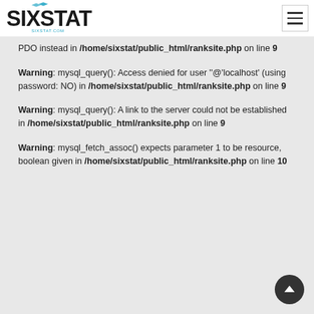SIXSTAT
PDO instead in /home/sixstat/public_html/ranksite.php on line 9
Warning: mysql_query(): Access denied for user ''@'localhost' (using password: NO) in /home/sixstat/public_html/ranksite.php on line 9
Warning: mysql_query(): A link to the server could not be established in /home/sixstat/public_html/ranksite.php on line 9
Warning: mysql_fetch_assoc() expects parameter 1 to be resource, boolean given in /home/sixstat/public_html/ranksite.php on line 10